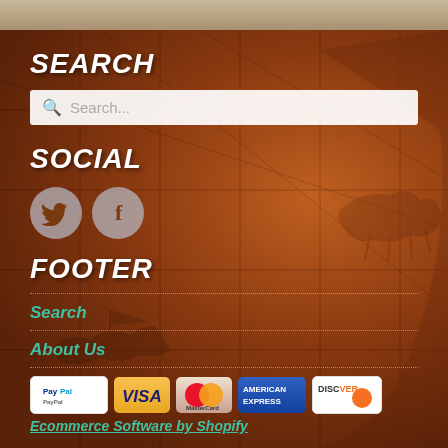SEARCH
[Figure (screenshot): Search input box with magnifying glass icon and placeholder text 'Search...']
SOCIAL
[Figure (illustration): Two circular social media icons: Twitter bird and Facebook 'f' logo, both on grey circular backgrounds]
FOOTER
Search
About Us
[Figure (illustration): Payment method badges: PayPal, VISA, MasterCard, American Express, Discover]
Ecommerce Software by Shopify